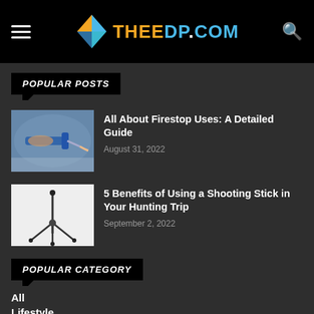THEEDP.COM
POPULAR POSTS
[Figure (photo): Person applying caulk or sealant with a caulking gun to a surface]
All About Firestop Uses: A Detailed Guide
August 31, 2022
[Figure (photo): Shooting stick / tripod monopod on white background]
5 Benefits of Using a Shooting Stick in Your Hunting Trip
September 2, 2022
POPULAR CATEGORY
All
Lifestyle